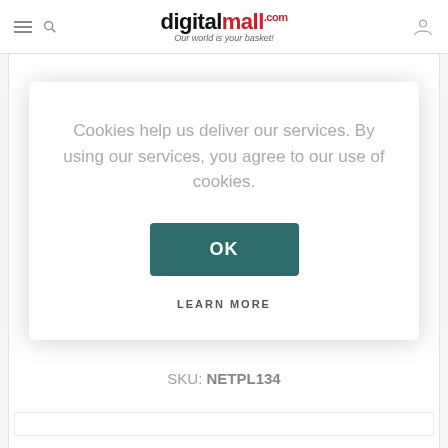digitalmall.com — Our world is your basket!
Cookies help us deliver our services. By using our services, you agree to our use of cookies.
OK
LEARN MORE
ADD TO COMPARE LIST
SKU: NETPL134